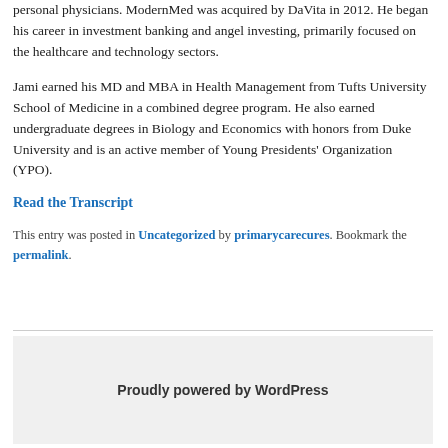personal physicians. ModernMed was acquired by DaVita in 2012. He began his career in investment banking and angel investing, primarily focused on the healthcare and technology sectors.
Jami earned his MD and MBA in Health Management from Tufts University School of Medicine in a combined degree program. He also earned undergraduate degrees in Biology and Economics with honors from Duke University and is an active member of Young Presidents' Organization (YPO).
Read the Transcript
This entry was posted in Uncategorized by primarycarecures. Bookmark the permalink.
Proudly powered by WordPress